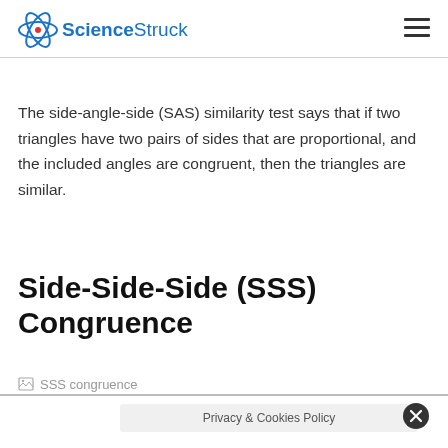ScienceStruck
The side-angle-side (SAS) similarity test says that if two triangles have two pairs of sides that are proportional, and the included angles are congruent, then the triangles are similar.
Side-Side-Side (SSS) Congruence
[Figure (photo): Broken image placeholder labeled 'SSS congruence']
Privacy & Cookies Policy